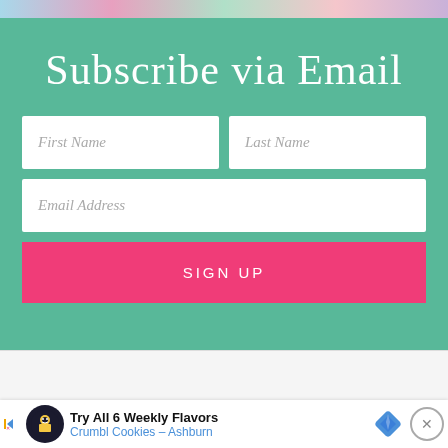[Figure (photo): Colorful top image strip with pastel tones]
Subscribe via Email
First Name
Last Name
Email Address
SIGN UP
COPY ... LICY
[Figure (infographic): Advertisement banner: Try All 6 Weekly Flavors Crumbl Cookies - Ashburn]